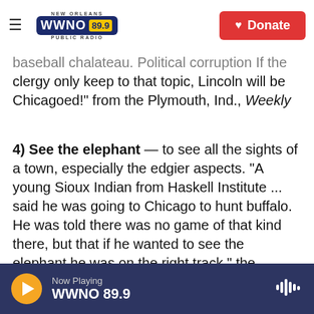NEW ORLEANS WWNO 89.9 PUBLIC RADIO | Donate
baseball chalateau. Political corruption If the clergy only keep to that topic, Lincoln will be Chicagoed!" from the Plymouth, Ind., Weekly Democrat of June 7, 1860.
4) See the elephant — to see all the sights of a town, especially the edgier aspects. "A young Sioux Indian from Haskell Institute ... said he was going to Chicago to hunt buffalo. He was told there was no game of that kind there, but that if he wanted to see the elephant he was on the right track," the Lawrence, Kan., Daily Journal reported on Sept. 2, 1891. Also sometimes used by members of the military to describe going to war.
Now Playing WWNO 89.9